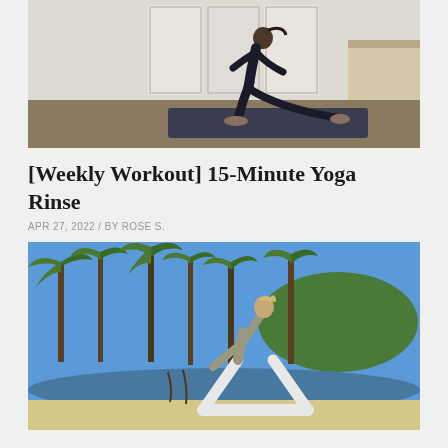[Figure (photo): A woman in black athletic wear performing a yoga lunge pose on a dark mat indoors, with white French doors in the background]
[Weekly Workout] 15-Minute Yoga Rinse
APR 27, 2022 / BY ROSE S.
[Figure (photo): A woman in white yoga pants and grey sports bra doing a triangle pose on a sandy beach with palm trees and blue sky in the background]
[Weekly Workout] 15-Minute Feel-Good Flow
MAR 30, 2022 / BY ROSE S.